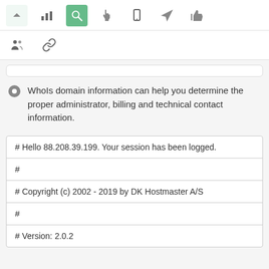[Figure (screenshot): Toolbar row with icons: up arrow (light bg), bar chart, search magnifier (green active), hand/pointer, mobile phone, paper plane, thumbs up]
[Figure (screenshot): Second toolbar row with two icons: people/group, chain link/key]
WhoIs domain information can help you determine the proper administrator, billing and technical contact information.
| # Hello 88.208.39.199. Your session has been logged. |
| # |
| # Copyright (c) 2002 - 2019 by DK Hostmaster A/S |
| # |
| # Version: 2.0.2 |